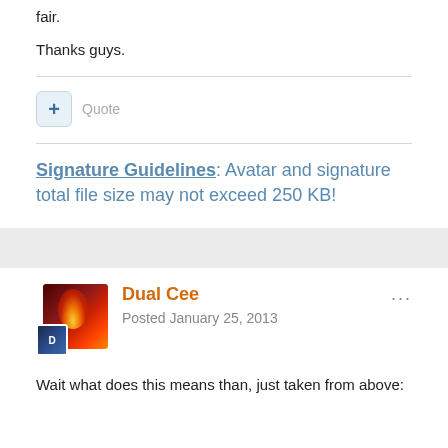fair.
Thanks guys.
Signature Guidelines: Avatar and signature total file size may not exceed 250 KB!
Dual Cee
Posted January 25, 2013
Wait what does this means than, just taken from above: